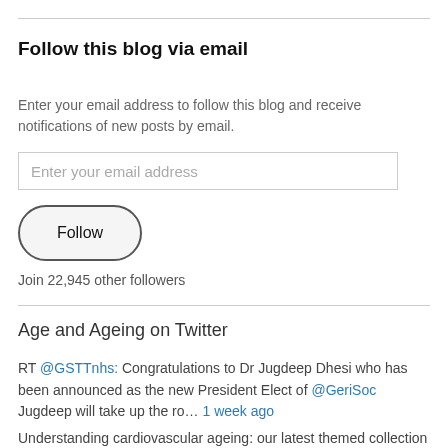Follow this blog via email
Enter your email address to follow this blog and receive notifications of new posts by email.
Enter your email address
Follow
Join 22,945 other followers
Age and Ageing on Twitter
RT @GSTTnhs: Congratulations to Dr Jugdeep Dhesi who has been announced as the new President Elect of @GeriSoc Jugdeep will take up the ro… 1 week ago
Understanding cardiovascular ageing: our latest themed collection of